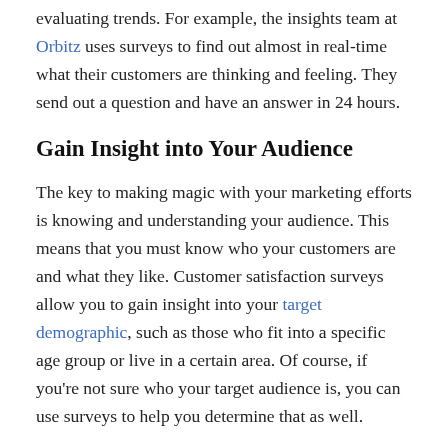evaluating trends. For example, the insights team at Orbitz uses surveys to find out almost in real-time what their customers are thinking and feeling. They send out a question and have an answer in 24 hours.
Gain Insight into Your Audience
The key to making magic with your marketing efforts is knowing and understanding your audience. This means that you must know who your customers are and what they like. Customer satisfaction surveys allow you to gain insight into your target demographic, such as those who fit into a specific age group or live in a certain area. Of course, if you're not sure who your target audience is, you can use surveys to help you determine that as well.
Learn More about Your Competition
There is more involved in consumer research than simply asking questions about your own brand/product/service